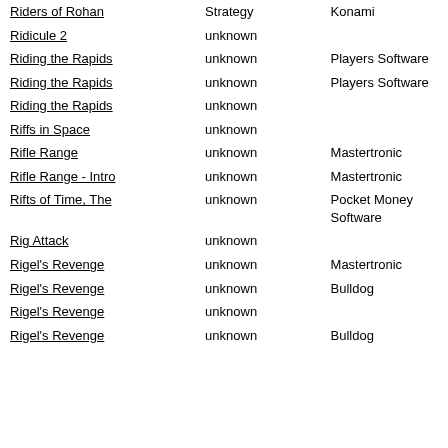| Title | Genre | Publisher |
| --- | --- | --- |
| Riders of Rohan | Strategy | Konami |
| Ridicule 2 | unknown |  |
| Riding the Rapids | unknown | Players Software |
| Riding the Rapids | unknown | Players Software |
| Riding the Rapids | unknown |  |
| Riffs in Space | unknown |  |
| Rifle Range | unknown | Mastertronic |
| Rifle Range - Intro | unknown | Mastertronic |
| Rifts of Time, The | unknown | Pocket Money Software |
| Rig Attack | unknown |  |
| Rigel's Revenge | unknown | Mastertronic |
| Rigel's Revenge | unknown | Bulldog |
| Rigel's Revenge | unknown |  |
| Rigel's Revenge | unknown | Bulldog |